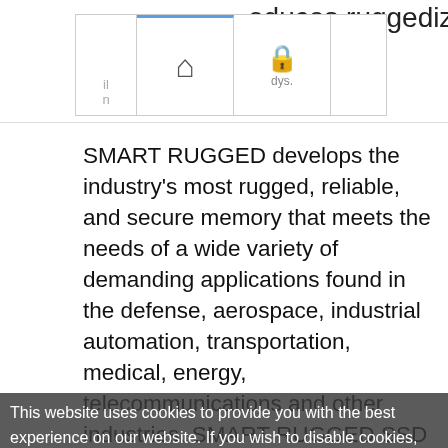[Figure (screenshot): Partial navigation bar with home icon and lock icon tabs, cropped at top of page]
oduces ruggedized SATA and
SMART RUGGED develops the industry's most rugged, reliable, and secure memory that meets the needs of a wide variety of demanding applications found in the defense, aerospace, industrial automation, transportation, medical, energy, telecommunications and other industries. SMART RUGGED SSD introduces next-generation defense-focused designs with physical ruggedization, conformal coating, HW-based erase triggers on each end of the drives. Utilizing Flash technology backed with proven world-class support, SMART RUGGED designs and manufactures high performance military and
This website uses cookies to provide you with the best experience on our website. If you wish to disable cookies, please do so in your browser settings. Your continued use of our site without disabling your cookies is subject to the cookie policy. Learn More
I agree